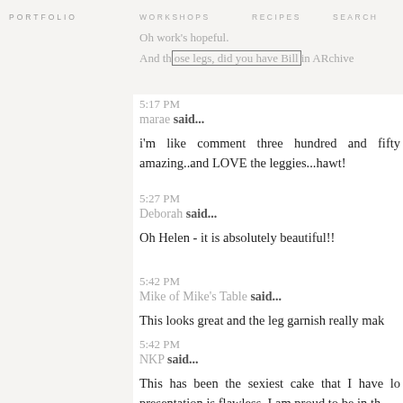PORTFOLIO   WORKSHOPS   RECIPES   SEARCH
Oh work's hopeful.
And those legs, did you have Bill in ARchive
5:17 PM
marae said...

i'm like comment three hundred and fifty amazing..and LOVE the leggies...hawt!
5:27 PM
Deborah said...

Oh Helen - it is absolutely beautiful!!
5:42 PM
Mike of Mike's Table said...

This looks great and the leg garnish really mak
5:42 PM
NKP said...

This has been the sexiest cake that I have lo presentation is flawless. I am proud to be in th